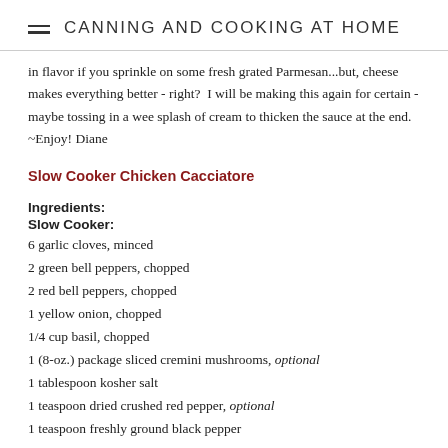CANNING AND COOKING AT HOME
in flavor if you sprinkle on some fresh grated Parmesan...but, cheese makes everything better - right?  I will be making this again for certain - maybe tossing in a wee splash of cream to thicken the sauce at the end.  ~Enjoy! Diane
Slow Cooker Chicken Cacciatore
Ingredients:
Slow Cooker:
6 garlic cloves, minced
2 green bell peppers, chopped
2 red bell peppers, chopped
1 yellow onion, chopped
1/4 cup basil, chopped
1 (8-oz.) package sliced cremini mushrooms, optional
1 tablespoon kosher salt
1 teaspoon dried crushed red pepper, optional
1 teaspoon freshly ground black pepper